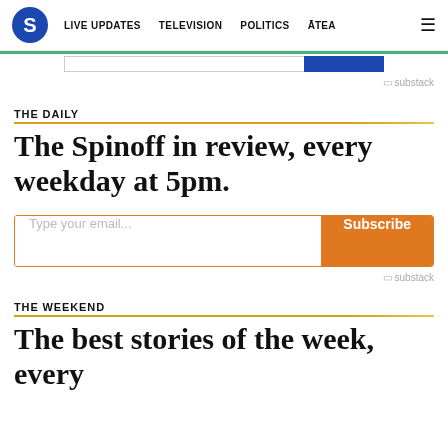S  LIVE UPDATES  TELEVISION  POLITICS  ĀTEA  ≡
[Figure (screenshot): Top subscribe bar with teal border, email input field, and blue subscribe button]
substack
THE DAILY
The Spinoff in review, every weekday at 5pm.
[Figure (screenshot): Email subscription form with placeholder 'Type your email...' and orange Subscribe button]
substack
THE WEEKEND
The best stories of the week, every